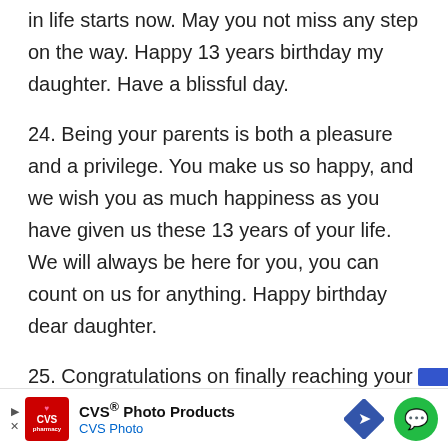in life starts now. May you not miss any step on the way. Happy 13 years birthday my daughter. Have a blissful day.
24. Being your parents is both a pleasure and a privilege. You make us so happy, and we wish you as much happiness as you have given us these 13 years of your life. We will always be here for you, you can count on us for anything. Happy birthday dear daughter.
25. Congratulations on finally reaching your teenage years. I wish that you will make every of your dream come true. Happy birthday to our 13
[Figure (other): CVS Photo Products advertisement banner at bottom of page with CVS pharmacy logo, diamond navigation icon, and green chat button]